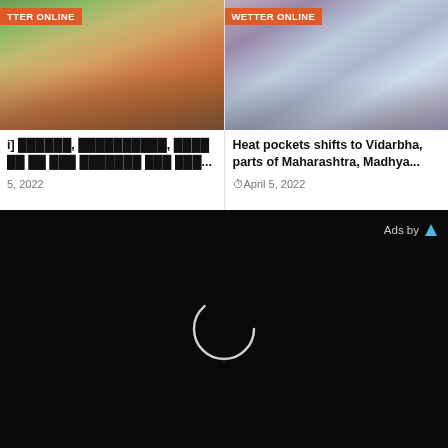[Figure (photo): News article card left: photo of people in street with orange WETTER ONLINE badge overlay]
i] ??????, ??????????, ???? ?? ?? ??? ??????? ??? ???...
5, 2022
[Figure (photo): News article card right: photo of people wearing masks with orange WETTER ONLINE badge overlay]
Heat pockets shifts to Vidarbha, parts of Maharashtra, Madhya...
April 5, 2022
[Figure (screenshot): Black advertisement section with loading spinner circle and Ads by label with blue triangle logo in top right corner]